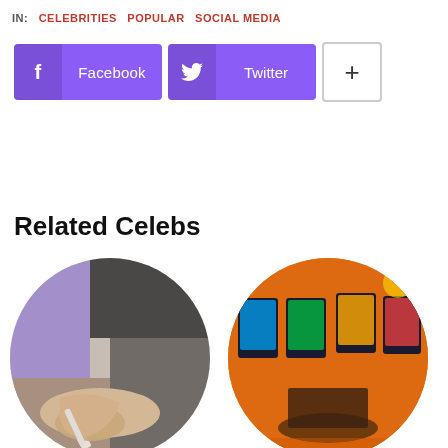IN: CELEBRITIES  POPULAR  SOCIAL MEDIA
Facebook  Twitter  +
Related Celebs
[Figure (photo): Circular cropped photo of a hand drawing or writing with a stylus/pen on paper or tablet, in muted brown and grey tones]
[Figure (photo): Circular cropped photo of a person playing arcade/slot machines in a brightly orange-walled room, seen from behind]